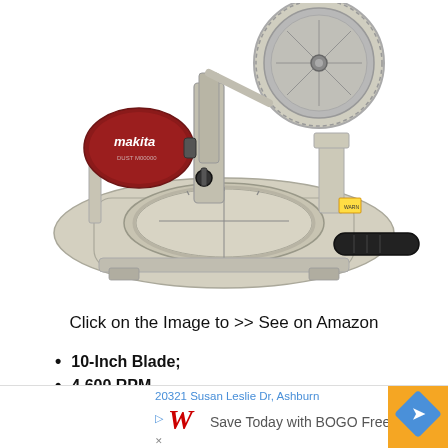[Figure (photo): Makita miter saw with 10-inch blade, white/beige body, red dust bag with Makita branding, circular turntable base with black handle]
Click on the Image to >> See on Amazon
10-Inch Blade;
4,600 RPM
Miter stops at 9 positions
[Figure (other): Walgreens advertisement banner showing address '20321 Susan Leslie Dr, Ashburn', Walgreens W logo, 'Save Today with BOGO Free' text, orange box with blue navigation diamond arrow sign]